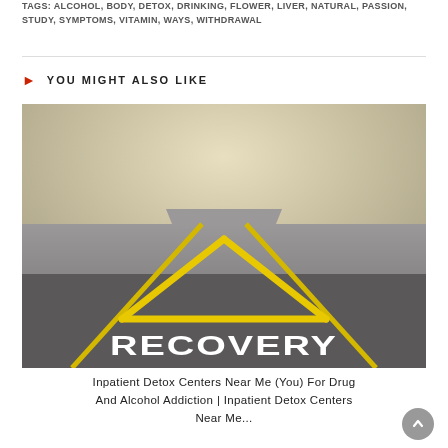TAGS: ALCOHOL, BODY, DETOX, DRINKING, FLOWER, LIVER, NATURAL, PASSION, STUDY, SYMPTOMS, VITAMIN, WAYS, WITHDRAWAL
YOU MIGHT ALSO LIKE
[Figure (photo): A road with a yellow arrow painted on asphalt, and the word RECOVERY painted in white letters below the arrow, with yellow lane lines extending into the distance.]
Inpatient Detox Centers Near Me (You) For Drug And Alcohol Addiction | Inpatient Detox Centers Near Me